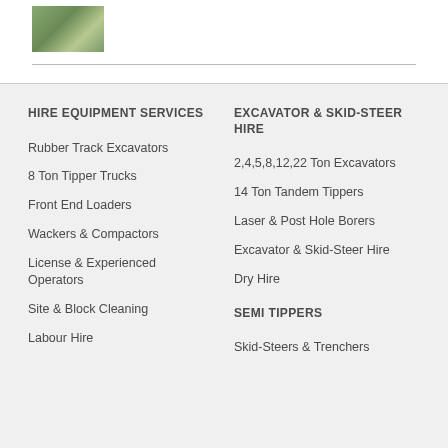[Figure (photo): Small thumbnail photo of construction equipment or site]
HIRE EQUIPMENT SERVICES
Rubber Track Excavators
8 Ton Tipper Trucks
Front End Loaders
Wackers & Compactors
License & Experienced Operators
Site & Block Cleaning
Labour Hire
EXCAVATOR & SKID-STEER HIRE
2,4,5,8,12,22 Ton Excavators
14 Ton Tandem Tippers
Laser & Post Hole Borers
Excavator & Skid-Steer Hire
Dry Hire
SEMI TIPPERS
Skid-Steers & Trenchers